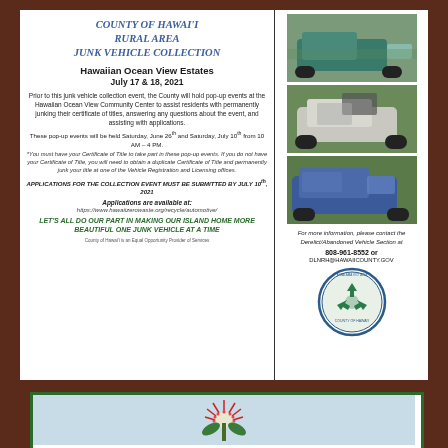COUNTY OF HAWAI'I RURAL AREA JUNK VEHICLE COLLECTION
Hawaiian Ocean View Estates
July 17 & 18, 2021
Prior to this junk vehicle collection event, the County will hold pop-up events at the Hawaiian Ocean View Community Center to assist residents with permanently junking their certificate of titles, answering any questions about the event, and assisting with applications.
These pop-up events will be held Saturday, June 26th and Saturday, July 10th from 10 AM – 4 PM.
*You must have your Certificate of Title to take part in these pop-up events. If you do not have your Certificate of Title, you will need to obtain a duplicate Certificate of Title and permanently junk your title at one of the Vehicle Registration and Licensing offices.
APPLICATIONS FOR THE COLLECTION EVENT MUST BE SUBMITTED BY JULY 10th, 2021
Applications are available at:
https://www.hawaiizerøwaste.org/recycle/automotive/
LET'S ALL DO OUR PART IN MAKING OUR ISLAND HOME MORE BEAUTIFUL ONE JUNK VEHICLE AT A TIME
County of Hawai'i is an Equal Opportunity Provider of Services
[Figure (photo): Blue/green pickup truck junk vehicle]
[Figure (photo): White SUV with open hood, junk vehicle]
[Figure (photo): Blue SUV junk vehicle]
For more information, please contact the Derelict/Abandoned Vehicle Section at
808-961-8552 or
DLNRH@HAWAIICOUNTY.GOV
[Figure (logo): County of Hawaii seal/logo with recycling arrows]
[Figure (illustration): Red flower (Lehua/Ohia) illustration on light blue background - bottom flyer]